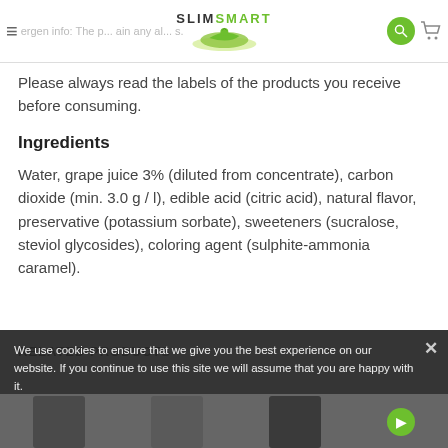SlimSmart — allergen info: The p... ain any al...s.
Please always read the labels of the products you receive before consuming.
Ingredients
Water, grape juice 3% (diluted from concentrate), carbon dioxide (min. 3.0 g / l), edible acid (citric acid), natural flavor, preservative (potassium sorbate), sweeteners (sucralose, steviol glycosides), coloring agent (sulphite-ammonia caramel).
We use cookies to ensure that we give you the best experience on our website. If you continue to use this site we will assume that you are happy with it.
RELATED PRODUCTS
OK
READ OUR PRIVACY AND GDPR POLICY